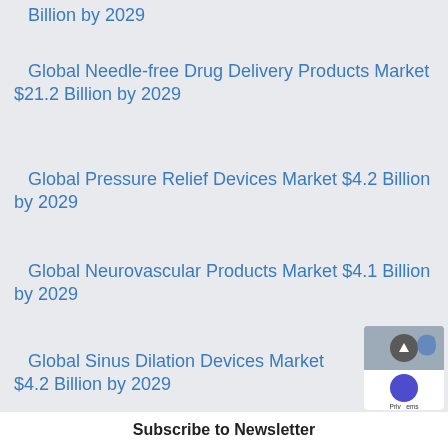Billion by 2029
Global Needle-free Drug Delivery Products Market $21.2 Billion by 2029
Global Pressure Relief Devices Market $4.2 Billion by 2029
Global Neurovascular Products Market $4.1 Billion by 2029
Global Sinus Dilation Devices Market $4.2 Billion by 2029
Subscribe to Newsletter